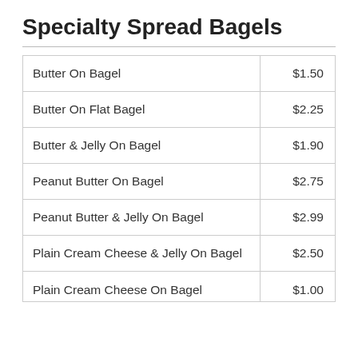Specialty Spread Bagels
| Item | Price |
| --- | --- |
| Butter On Bagel | $1.50 |
| Butter On Flat Bagel | $2.25 |
| Butter & Jelly On Bagel | $1.90 |
| Peanut Butter On Bagel | $2.75 |
| Peanut Butter & Jelly On Bagel | $2.99 |
| Plain Cream Cheese & Jelly On Bagel | $2.50 |
| Plain Cream Cheese On Bagel | $1.00 |